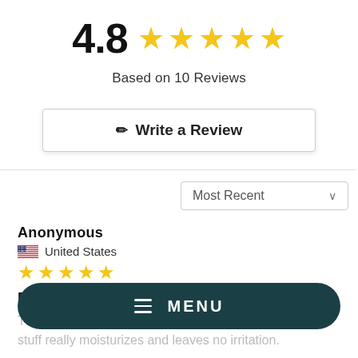4.8 ★★★★★
Based on 10 Reviews
✏ Write a Review
Most Recent ▾
Anonymous
United States
★★★★★
Perfect for sensitive skin
really on my face. I have pretty sensitive skin and this stuff really moisturizes and leaves no irritation.
☰  MENU